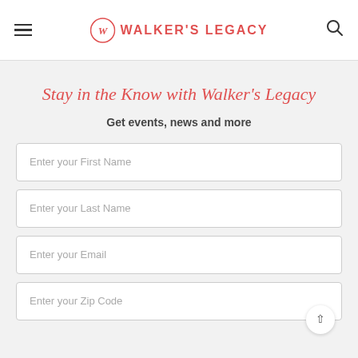Walker's Legacy
Stay in the Know with Walker's Legacy
Get events, news and more
Enter your First Name
Enter your Last Name
Enter your Email
Enter your Zip Code